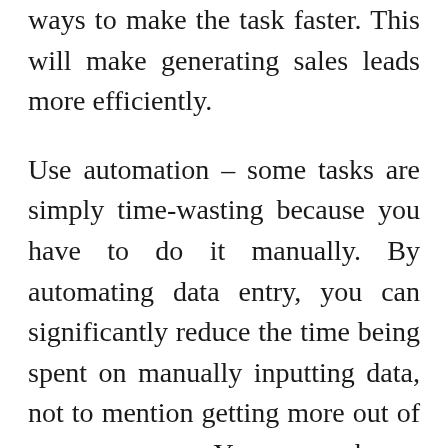ways to make the task faster. This will make generating sales leads more efficiently.
Use automation – some tasks are simply time-wasting because you have to do it manually. By automating data entry, you can significantly reduce the time being spent on manually inputting data, not to mention getting more out of your process. You can choose whatever system that will work for you. Reduce the repetition of questions as well as … Read More